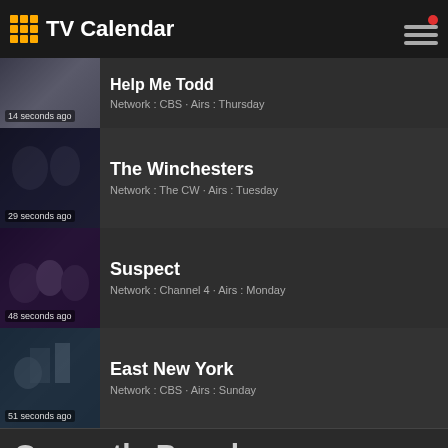TV Calendar
Help Me Todd · 14 seconds ago · Network : CBS · Airs : Thursday
The Winchesters · 29 seconds ago · Network : The CW · Airs : Tuesday
Suspect · 48 seconds ago · Network : Channel 4 · Airs : Monday
East New York · 51 seconds ago · Network : CBS · Airs : Sunday
Currently Popular
The Lord of the Rings: The Rings · +2254 selects this week
House of the Dragon